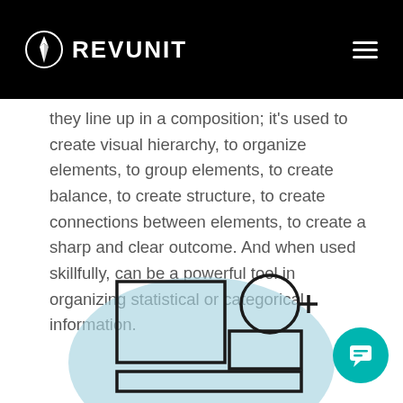REVUNIT
they line up in a composition; it’s used to create visual hierarchy, to organize elements, to group elements, to create balance, to create structure, to create connections between elements, to create a sharp and clear outcome. And when used skillfully, can be a powerful tool in organizing statistical or categorical information.
[Figure (illustration): An illustration showing geometric shapes (rectangle, circle, smaller rectangle) arranged on a light blue blob background, partially visible at the bottom of the page. A teal chat button is in the bottom right corner.]